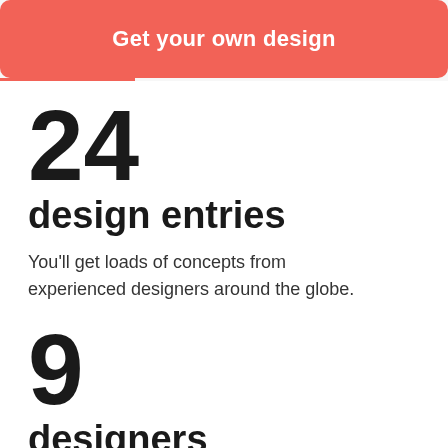Get your own design
24
design entries
You'll get loads of concepts from experienced designers around the globe.
9
designers
Work with talented, professional Postcard